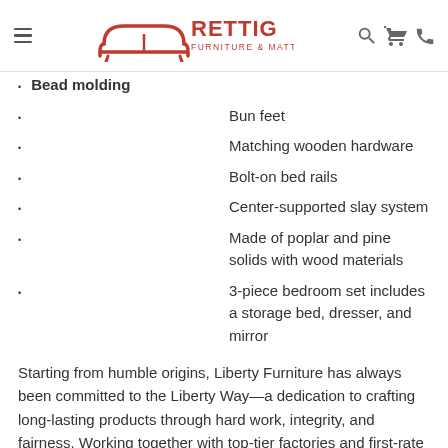Rettig Furniture & Mattress
Bead molding
Bun feet
Matching wooden hardware
Bolt-on bed rails
Center-supported slay system
Made of poplar and pine solids with wood materials
3-piece bedroom set includes a storage bed, dresser, and mirror
Starting from humble origins, Liberty Furniture has always been committed to the Liberty Way—a dedication to crafting long-lasting products through hard work, integrity, and fairness. Working together with top-tier factories and first-rate designers, Liberty creates high-quality wood products with deluxe finishes, durable hardware, and standout style. Complete with on-trend designs ranging